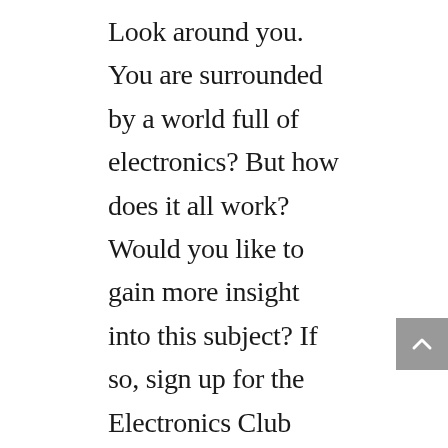Look around you. You are surrounded by a world full of electronics? But how does it all work? Would you like to gain more insight into this subject? If so, sign up for the Electronics Club with Mr. CM in F332. This hands-on club includes activities like soldering, de-soldering components, and the assembling of small circuits for various applications, and in the process you can learn some of the basics of electricity and electronics. This club will meet every other Monday.
Students considering a career in architecture, engineering or construction